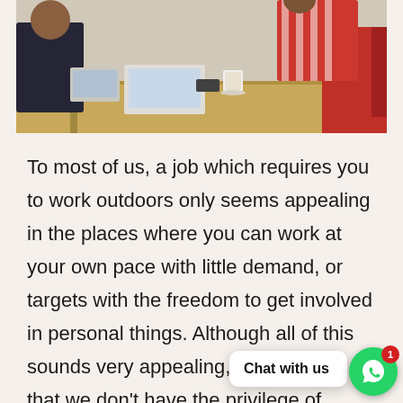[Figure (photo): Photo of people working at a wooden desk/table in an office setting. A person in a red and white striped shirt is visible on the right, with a red chair. Another person in dark clothing is partially visible on the left. Items on the table include a laptop and a coffee cup.]
To most of us, a job which requires you to work outdoors only seems appealing in the places where you can work at your own pace with little demand, or targets with the freedom to get involved in personal things. Although all of this sounds very appealing, it's no secret that we don't have the privilege of seeing the sun on a regular basis. With both indoor and outdoor jobs carrying several good and bad factors, it's down to personal preference where you choose t